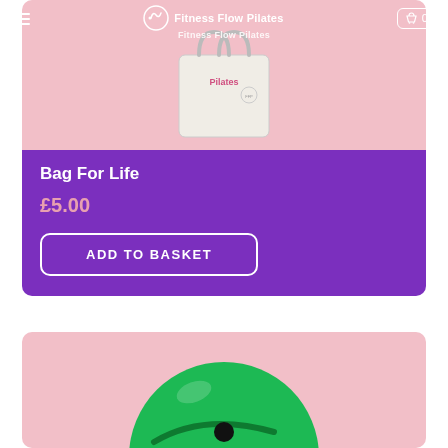[Figure (screenshot): Website screenshot of Fitness Flow Pilates shop page showing navigation bar with hamburger menu, Fitness Flow Pilates logo, and basket icon (0 items)]
[Figure (photo): Photo of a white tote bag with Fitness Flow Pilates branding on a pink background]
Bag For Life
£5.00
ADD TO BASKET
[Figure (photo): Photo of a green exercise ball (pilates ball) on a pink background, partially visible]